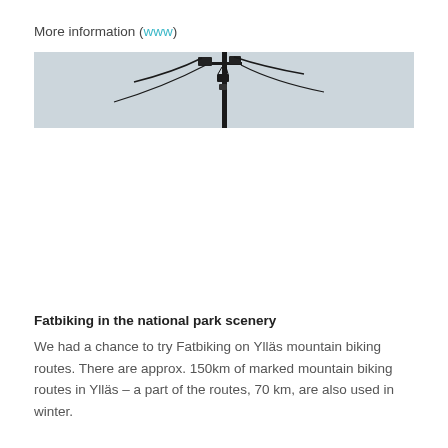More information (www)
[Figure (photo): A photo of a utility pole or camera/sensor pole with wires against a light grey sky. Only the top portion of the pole and equipment is visible.]
Fatbiking in the national park scenery
We had a chance to try Fatbiking on Ylläs mountain biking routes. There are approx. 150km of marked mountain biking routes in Ylläs – a part of the routes, 70 km, are also used in winter.